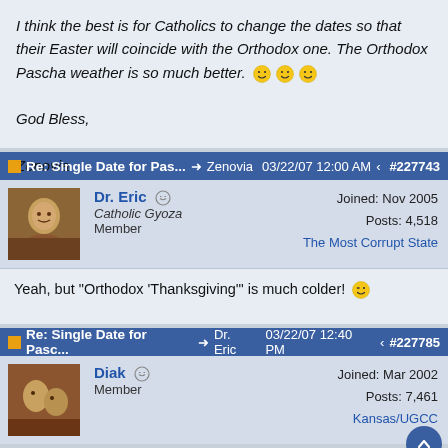I think the best is for Catholics to change the dates so that their Easter will coincide with the Orthodox one. The Orthodox Pascha weather is so much better. [smiley faces]

God Bless,

Zenovia
Re: Single Date for Pas... → Zenovia  03/22/07 12:00 AM  #227743
Dr. Eric | Catholic Gyoza | Member | Joined: Nov 2005 | Posts: 4,518 | The Most Corrupt State
Yeah, but "Orthodox 'Thanksgiving'" is much colder! [wink emoji]
Re: Single Date for Pasc... → Dr. Eric  03/22/07 12:40 PM  #227785
Diak | Member | Joined: Mar 2002 | Posts: 7,461 | Kansas/UGCC